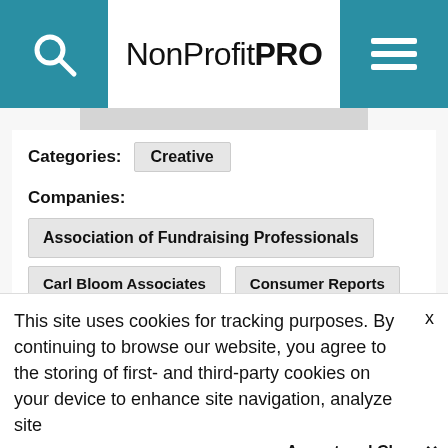NonProfitPRO
Categories: Creative
Companies:
Association of Fundraising Professionals
Carl Bloom Associates
Consumer Reports
Russ Reid
This site uses cookies for tracking purposes. By continuing to browse our website, you agree to the storing of first- and third-party cookies on your device to enhance site navigation, analyze site usage, and assist in our marketing and
Accept and Close ✕
Your browser settings do not allow cross-site tracking for advertising. Click on this page to allow AdRoll to use cross-site tracking to tailor ads to you. Learn more or opt out of this AdRoll tracking by clicking here. This message only appears once.